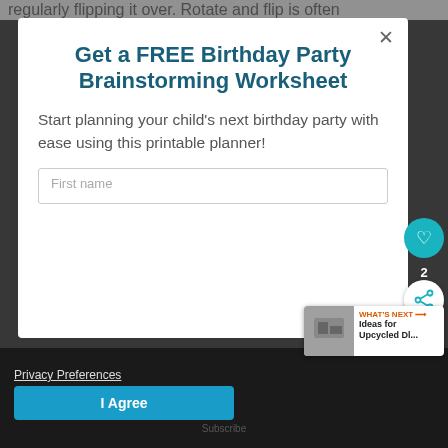regularly flipping it over. Rotate and flip is often
Get a FREE Birthday Party Brainstorming Worksheet
Start planning your child's next birthday party with ease using this printable planner!
First name
Email address
Privacy Preferences
I Agree
WHAT'S NEXT → Ideas for Upcycled Dl...
Subscribe